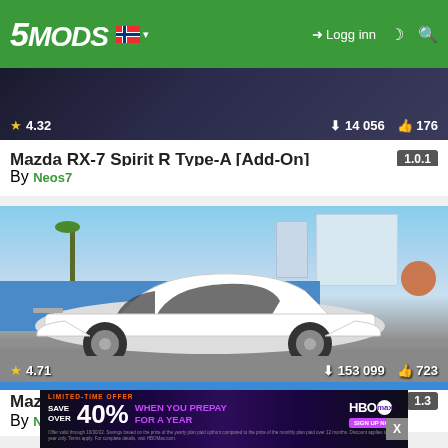5MODS — Logg inn
[Figure (screenshot): Partial bottom of a car mod listing thumbnail showing a dark car image with stats: rating 4.32, downloads 14 056, likes 176]
Mazda RX-7 Spirit R Type-A [Add-On]
By Neos7
[Figure (screenshot): Screenshot of a white Mazda RX7 FD3S in GTA V, parked near a port/industrial area with blue shipping containers, palm trees, and buildings in the background. Stats: rating 4.71, downloads 153 099, likes 723]
Mazda RX7 FD3S [Add-On / Replace | Tuning | Livery | T...
By Neos7
[Figure (screenshot): HBO Max advertisement banner: LIMITED-TIME OFFER — SAVE OVER 40% WHEN YOU PREPAY FOR A YEAR. Fine print about offer validity.]